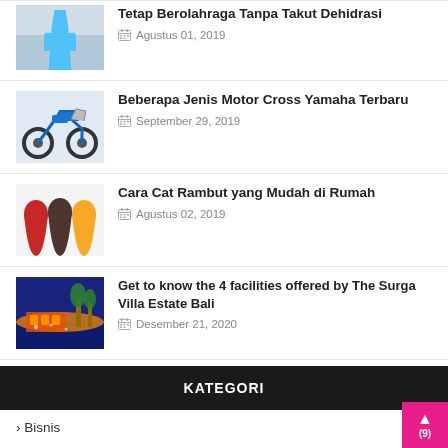[Figure (photo): Thumbnail of a woman athlete in sportswear]
Tetap Berolahraga Tanpa Takut Dehidrasi
Agustus 01, 2019
[Figure (photo): Thumbnail of a Yamaha motocross bike]
Beberapa Jenis Motor Cross Yamaha Terbaru
September 29, 2019
[Figure (photo): Thumbnail of women with colorful hair]
Cara Cat Rambut yang Mudah di Rumah
Agustus 02, 2019
[Figure (photo): Thumbnail of a villa with palm trees at night]
Get to know the 4 facilities offered by The Surga Villa Estate Bali
Desember 21, 2020
KATEGORI
› Bisnis (9)